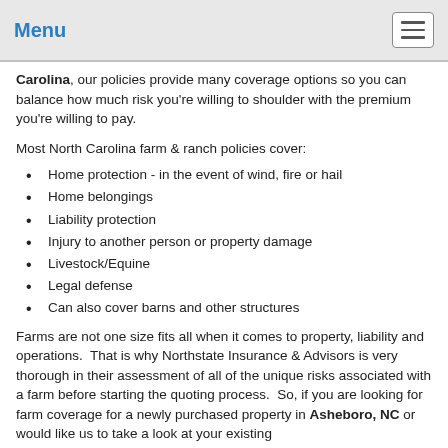Menu
Carolina, our policies provide many coverage options so you can balance how much risk you're willing to shoulder with the premium you're willing to pay.
Most North Carolina farm & ranch policies cover:
Home protection - in the event of wind, fire or hail
Home belongings
Liability protection
Injury to another person or property damage
Livestock/Equine
Legal defense
Can also cover barns and other structures
Farms are not one size fits all when it comes to property, liability and operations.  That is why Northstate Insurance & Advisors is very thorough in their assessment of all of the unique risks associated with a farm before starting the quoting process.  So, if you are looking for farm coverage for a newly purchased property in Asheboro, NC or would like us to take a look at your existing